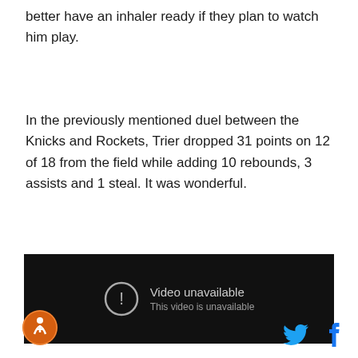better have an inhaler ready if they plan to watch him play.
In the previously mentioned duel between the Knicks and Rockets, Trier dropped 31 points on 12 of 18 from the field while adding 10 rebounds, 3 assists and 1 steal. It was wonderful.
[Figure (screenshot): Embedded video player showing 'Video unavailable – This video is unavailable' message on a dark background]
[Figure (logo): Site logo – circular orange badge with basketball player silhouette]
[Figure (other): Twitter bird icon and Facebook f icon for social sharing]